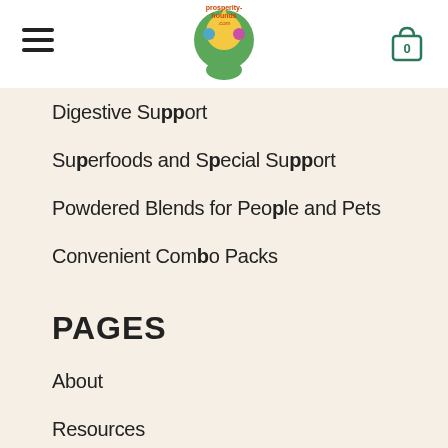Navigation header with hamburger menu, logo, and cart icon showing 0
Digestive Support
Superfoods and Special Support
Powdered Blends for People and Pets
Convenient Combo Packs
PAGES
About
Resources
The Blog
Opportunity